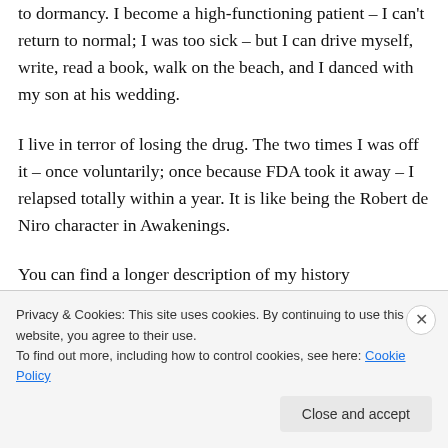to dormancy. I become a high-functioning patient – I can't return to normal; I was too sick – but I can drive myself, write, read a book, walk on the beach, and I danced with my son at his wedding.
I live in terror of losing the drug. The two times I was off it – once voluntarily; once because FDA took it away – I relapsed totally within a year. It is like being the Robert de Niro character in Awakenings.
You can find a longer description of my history
Privacy & Cookies: This site uses cookies. By continuing to use this website, you agree to their use.
To find out more, including how to control cookies, see here: Cookie Policy